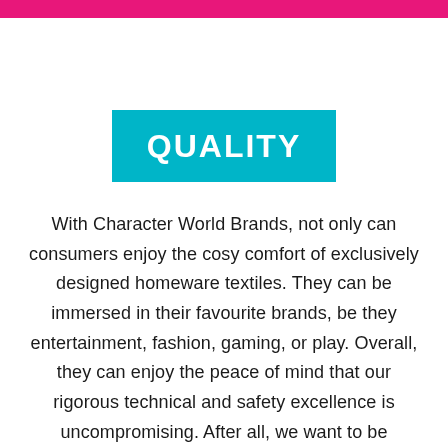QUALITY
With Character World Brands, not only can consumers enjoy the cosy comfort of exclusively designed homeware textiles. They can be immersed in their favourite brands, be they entertainment, fashion, gaming, or play. Overall, they can enjoy the peace of mind that our rigorous technical and safety excellence is uncompromising. After all, we want to be confident our consumers are as